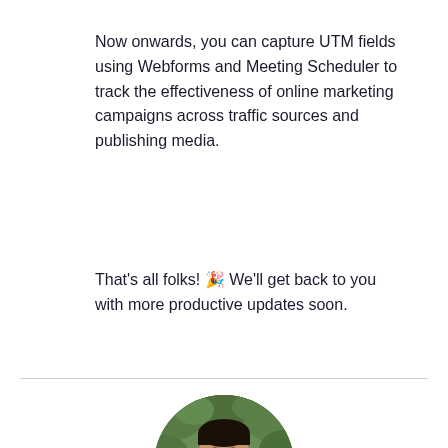Now onwards, you can capture UTM fields using Webforms and Meeting Scheduler to track the effectiveness of online marketing campaigns across traffic sources and publishing media.
Learn more
That's all folks! 🎉 We'll get back to you with more productive updates soon.
[Figure (photo): Circular profile photo of a young man in a navy blue suit and tie, with a green leafy background.]